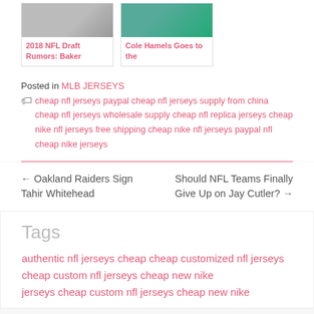[Figure (photo): Two side-by-side article card thumbnails: left shows a person in white/grey background, right shows a person in front of a green 'National' banner]
2018 NFL Draft Rumors: Baker
Cole Hamels Goes to the
Posted in MLB JERSEYS
cheap nfl jerseys paypal cheap nfl jerseys supply from china cheap nfl jerseys wholesale supply cheap nfl replica jerseys cheap nike nfl jerseys free shipping cheap nike nfl jerseys paypal nfl cheap nike jerseys
← Oakland Raiders Sign Tahir Whitehead
Should NFL Teams Finally Give Up on Jay Cutler? →
Tags
authentic nfl jerseys cheap cheap customized nfl jerseys cheap custom nfl jerseys cheap new nike